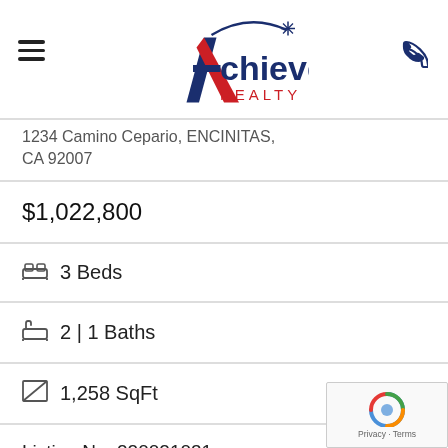Achievers Realty
1234 Camino Cepario, ENCINITAS, CA 92007
$1,022,800
3 Beds
2 | 1 Baths
1,258 SqFt
Listing No. 220021031
Property Type: Condo